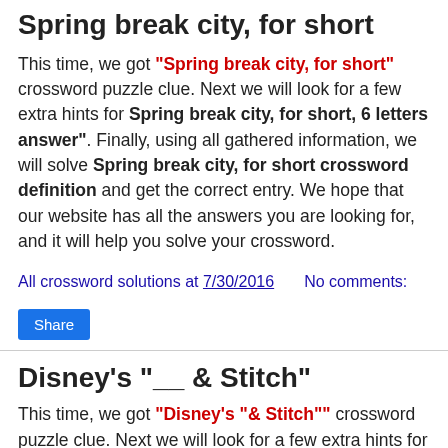Spring break city, for short
This time, we got "Spring break city, for short" crossword puzzle clue. Next we will look for a few extra hints for Spring break city, for short, 6 letters answer". Finally, using all gathered information, we will solve Spring break city, for short crossword definition and get the correct entry. We hope that our website has all the answers you are looking for, and it will help you solve your crossword.
All crossword solutions at 7/30/2016    No comments:
Share
Disney's "__ & Stitch"
This time, we got "Disney's "& Stitch"" crossword puzzle clue. Next we will look for a few extra hints for Disney's "__ & Stitch", 4 letters answer". Finally, using all gathered information, we will solve Disney's "__ & Stitch" crossword definition and get the correct entry. We